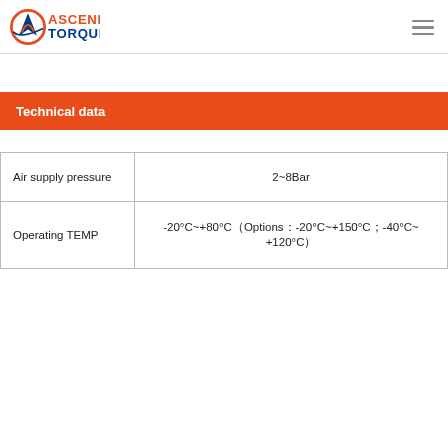Ascend Torque
Technical data
|  |  |
| --- | --- |
| Air supply pressure | 2~8Bar |
| Operating TEMP | -20°C~+80°C（Options：-20°C~+150°C；-40°C~+120°C） |